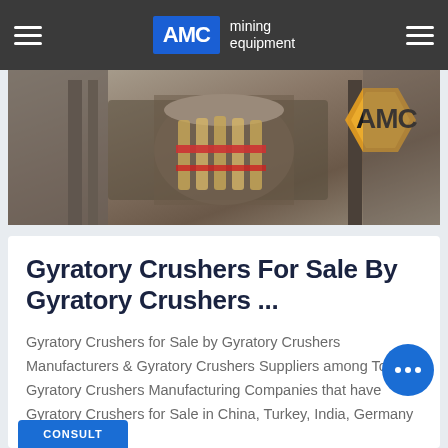AMC mining equipment
[Figure (photo): Photo of gyratory crusher mining equipment with AMC logo overlay on orange hexagon background]
Gyratory Crushers For Sale By Gyratory Crushers ...
Gyratory Crushers for Sale by Gyratory Crushers Manufacturers & Gyratory Crushers Suppliers among Top Gyratory Crushers Manufacturing Companies that have Gyratory Crushers for Sale in China, Turkey, India, Germany at Tradekey